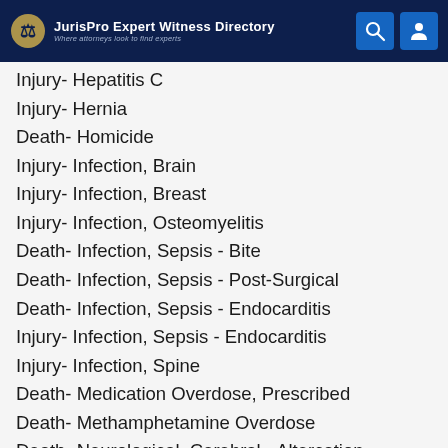JurisPro Expert Witness Directory — Where attorneys look to find experts
Injury- Hepatitis C
Injury- Hernia
Death- Homicide
Injury- Infection, Brain
Injury- Infection, Breast
Injury- Infection, Osteomyelitis
Death- Infection, Sepsis - Bite
Death- Infection, Sepsis - Post-Surgical
Death- Infection, Sepsis - Endocarditis
Injury- Infection, Sepsis - Endocarditis
Injury- Infection, Spine
Death- Medication Overdose, Prescribed
Death- Methamphetamine Overdose
Death- Neurological, Cerebral - Altercation
Death- Neurological, Seizure Disorder
Death- Neurological, Withdrawal
Injury- Neurological, Cerebral hemorrhage